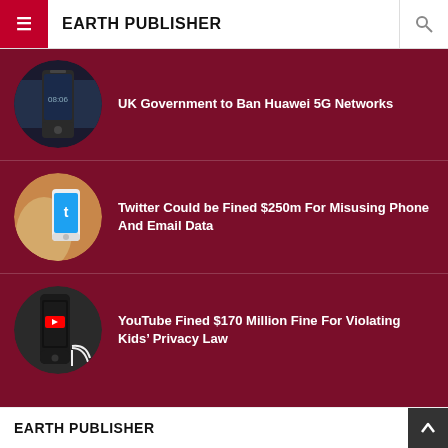EARTH PUBLISHER
UK Government to Ban Huawei 5G Networks
Twitter Could be Fined $250m For Misusing Phone And Email Data
YouTube Fined $170 Million Fine For Violating Kids' Privacy Law
EARTH PUBLISHER